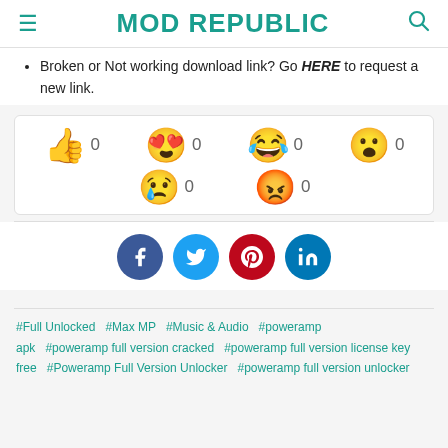MOD REPUBLIC
Broken or Not working download link? Go HERE to request a new link.
[Figure (infographic): Reaction buttons with emoji icons (thumbs up, heart eyes, laughing crying, surprised, sad, angry) each showing a count of 0]
[Figure (infographic): Social media share buttons: Facebook, Twitter, Pinterest, LinkedIn]
#Full Unlocked  #Max MP  #Music & Audio  #poweramp apk  #poweramp full version cracked  #poweramp full version license key free  #Poweramp Full Version Unlocker  #poweramp full version unlocker